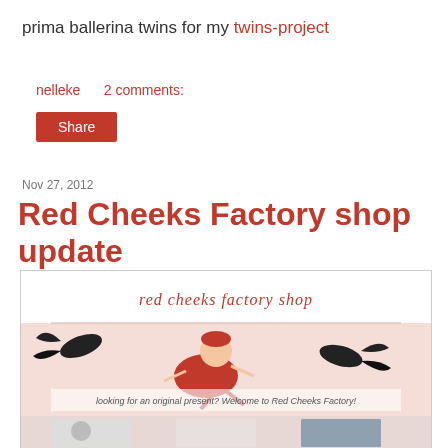prima ballerina twins for my twins-project
nelleke   2 comments:
Share
Nov 27, 2012
Red Cheeks Factory shop update
[Figure (illustration): Red Cheeks Factory shop banner illustration showing a girl in a red dress flying with two black birds, with text 'red cheeks factory shop' and 'looking for an original present? Welcome to Red Cheeks Factory!' and smaller product images below.]